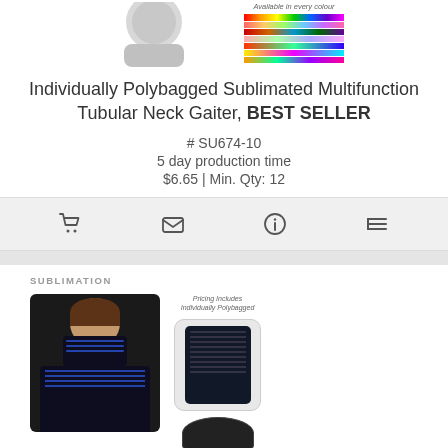[Figure (photo): Product images at top: mannequin/person wearing neck gaiter on the left, color swatch chart on the right with label 'Available in every colour']
Individually Polybagged Sublimated Multifunction Tubular Neck Gaiter, BEST SELLER
# SU674-10
5 day production time
$6.65 | Min. Qty: 12
[Figure (infographic): Action bar with four icons: shopping cart, envelope/email, info, and list/menu]
[Figure (photo): Bottom product card: SUBLIMATION label, photo of person wearing black sublimated neck gaiter as face covering, and product photo showing individually polybagged packaging]